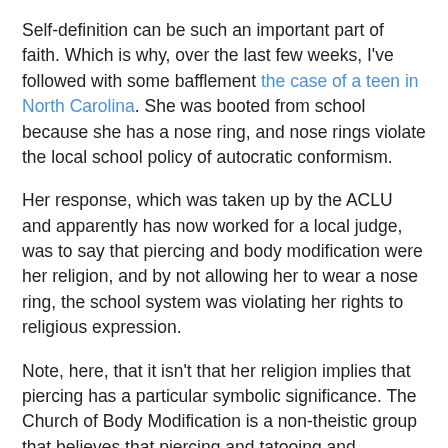Self-definition can be such an important part of faith.  Which is why, over the last few weeks, I've followed with some bafflement the case of a teen in North Carolina.  She was booted from school because she has a nose ring, and nose rings violate the local school policy of autocratic conformism.
Her response, which was taken up by the ACLU and apparently has now worked for a local judge, was to say that piercing and body modification were her religion, and by not allowing her to wear a nose ring, the school system was violating her rights to religious expression.
Note, here, that it isn't that her religion implies that piercing has a particular symbolic significance.  The Church of Body Modification is a non-theistic group that believes that piercing and tatooing and scarification are the goal of human life and self expression.  Oh, and some of them like to hang themselves from the ceiling from hooks in their flesh.   You can check it out at the website of the Church, although, really, ouch.  And ew.  Again, this isn't theistic.  It does not serve to express anything other than the act itself.  They just